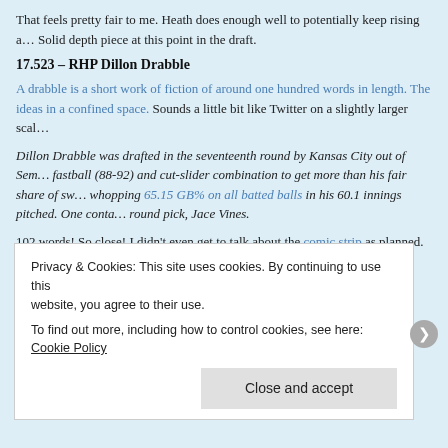That feels pretty fair to me. Heath does enough well to potentially keep rising a… Solid depth piece at this point in the draft.
17.523 – RHP Dillon Drabble
A drabble is a short work of fiction of around one hundred words in length. The ideas in a confined space. Sounds a little bit like Twitter on a slightly larger scale.
Dillon Drabble was drafted in the seventeenth round by Kansas City out of Sem… fastball (88-92) and cut-slider combination to get more than his fair share of sw… whopping 65.15 GB% on all batted balls in his 60.1 innings pitched. One conta… round pick, Jace Vines.
102 words! So close! I didn't even get to talk about the comic strip as planned.
18.553 – LHP Vance Tatum
Two players named Vance in one draft class has to be a record, right? Vance T… when called upon (7.73 K/9 and 3.45 BB/9 in 96.2 career college IP) thanks to … imperfect comp for him that may have some merit, especially if he picks up a lit…
Privacy & Cookies: This site uses cookies. By continuing to use this website, you agree to their use.
To find out more, including how to control cookies, see here: Cookie Policy
Close and accept